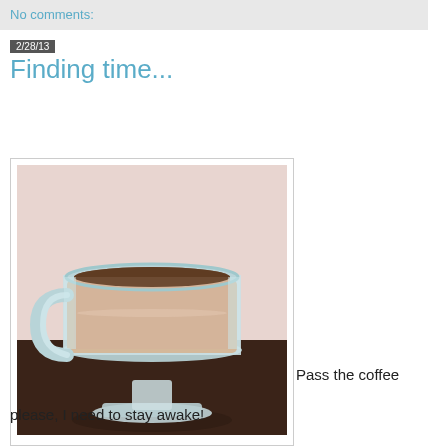No comments:
2/28/13
Finding time...
[Figure (photo): A glass coffee mug filled with creamy coffee/latte on a dark brown surface with a light pink background]
Pass the coffee please, I need to stay awake!